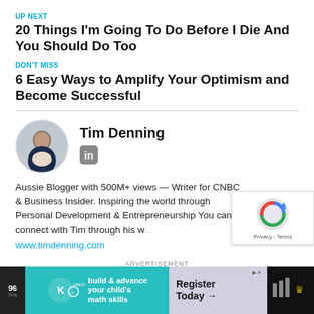UP NEXT
20 Things I'm Going To Do Before I Die And You Should Do Too
DON'T MISS
6 Easy Ways to Amplify Your Optimism and Become Successful
[Figure (photo): Circular profile photo of Tim Denning, a man in a dark suit against a light background]
Tim Denning
[Figure (logo): LinkedIn icon]
Aussie Blogger with 500M+ views — Writer for CNBC & Business Insider. Inspiring the world through Personal Development & Entrepreneurship You can connect with Tim through his w…
www.timdenning.com
ADVERTISEMENT
[Figure (other): Kumon ad banner with teal background showing 'build & advance your child's math skills' and 'Register Today' alongside a reCAPTCHA overlay and dark side panels]